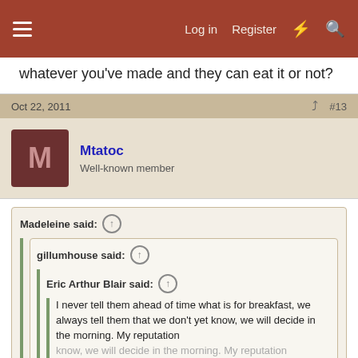Log in  Register
whatever you've made and they can eat it or not?
Oct 22, 2011  #13
Mtatoc
Well-known member
Madeleine said:
gillumhouse said:
Eric Arthur Blair said:
I never tell them ahead of time what is for breakfast, we always tell them that we don't yet know, we will decide in the morning. My reputation
Click to expand...
That is what we do here, too. We serve plated and they eat it or not.